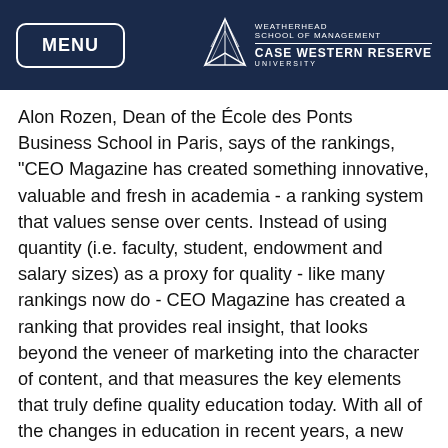MENU | WEATHERHEAD SCHOOL OF MANAGEMENT CASE WESTERN RESERVE UNIVERSITY
Alon Rozen, Dean of the École des Ponts Business School in Paris, says of the rankings, “CEO Magazine has created something innovative, valuable and fresh in academia - a ranking system that values sense over cents. Instead of using quantity (i.e. faculty, student, endowment and salary sizes) as a proxy for quality - like many rankings now do - CEO Magazine has created a ranking that provides real insight, that looks beyond the veneer of marketing into the character of content, and that measures the key elements that truly define quality education today. With all of the changes in education in recent years, a new approach to ranking was definitely in order, and Graduate Forum has now jumped ahead of the competition in this respect. A sigh of relief for prospects and employers looking for a better way to identify the best programmes the world has to offer.”
“We are pleased that both the full-time MBA program and